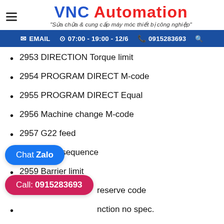VNC Automation — "Sửa chữa & cung cấp máy móc thiết bị công nghiệp"
EMAIL  07:00 - 19:00 - 12/6  0915283693
2953 DIRECTION Torque limit
2954 PROGRAM DIRECT M-code
2955 PROGRAM DIRECT Equal
2956 Machine change M-code
2957 G22 feed
2958 Main sequence
2959 Barrier limit
...reserve code
...nction no spec.
2962 Subscript function no spec.